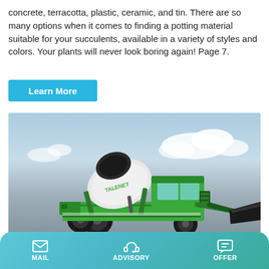concrete, terracotta, plastic, ceramic, and tin. There are so many options when it comes to finding a potting material suitable for your succulents, available in a variety of styles and colors. Your plants will never look boring again! Page 7.
Learn More
[Figure (photo): A green self-loading concrete mixer truck (Talenet brand) with a large rotating drum on a flat outdoor background with blue sky and clouds.]
MAIL   ADVISORY   OFFER